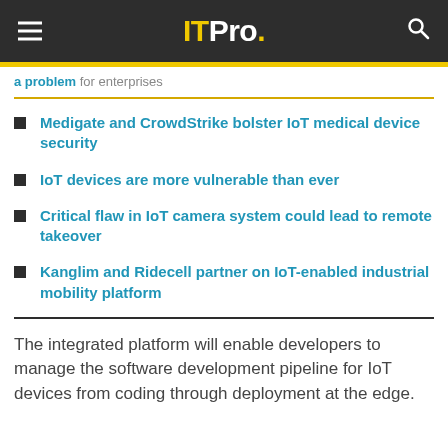ITPro.
a problem for enterprises
Medigate and CrowdStrike bolster IoT medical device security
IoT devices are more vulnerable than ever
Critical flaw in IoT camera system could lead to remote takeover
Kanglim and Ridecell partner on IoT-enabled industrial mobility platform
The integrated platform will enable developers to manage the software development pipeline for IoT devices from coding through deployment at the edge.